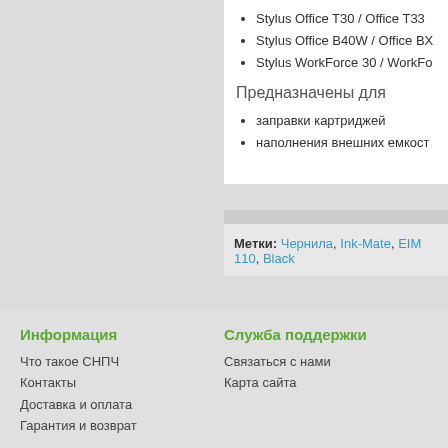Stylus Office T30 / Office T33
Stylus Office B40W / Office BX
Stylus WorkForce 30 / WorkFo
Предназначены для
заправки картриджей
наполнения внешних емкост
Метки: Чернила, Ink-Mate, EIM 110, Black
Информация
Что такое СНПЧ
Контакты
Доставка и оплата
Гарантия и возврат
[Figure (logo): LOCATOR logo in a bordered box]
Служба поддержки
Связаться с нами
Карта сайта